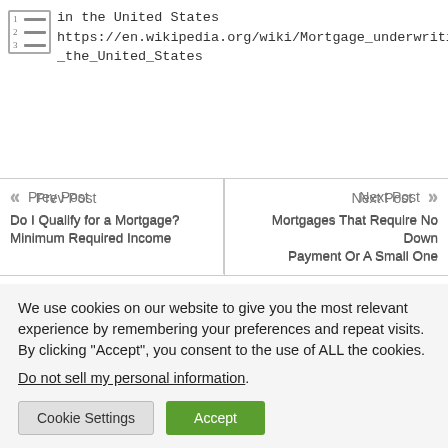1 2 3  in the United States
https://en.wikipedia.org/wiki/Mortgage_underwriting_in_the_United_States
« Prev Post
Do I Qualify for a Mortgage? Minimum Required Income
Next Post »
Mortgages That Require No Down Payment Or A Small One
We use cookies on our website to give you the most relevant experience by remembering your preferences and repeat visits. By clicking “Accept”, you consent to the use of ALL the cookies.
Do not sell my personal information.
Cookie Settings  Accept